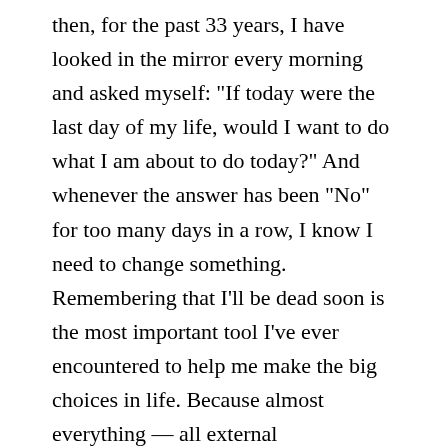then, for the past 33 years, I have looked in the mirror every morning and asked myself: "If today were the last day of my life, would I want to do what I am about to do today?" And whenever the answer has been "No" for too many days in a row, I know I need to change something. Remembering that I'll be dead soon is the most important tool I've ever encountered to help me make the big choices in life. Because almost everything — all external expectations, all pride, all fear of embarrassment or failure - these things just fall away in the face of death, leaving only what is truly important. Remembering that you are going to die is the best way I know to avoid the